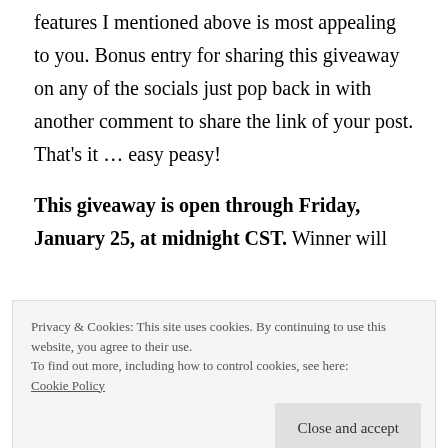features I mentioned above is most appealing to you. Bonus entry for sharing this giveaway on any of the socials just pop back in with another comment to share the link of your post. That's it … easy peasy!
This giveaway is open through Friday, January 25, at midnight CST. Winner will
Privacy & Cookies: This site uses cookies. By continuing to use this website, you agree to their use. To find out more, including how to control cookies, see here: Cookie Policy
Close and accept